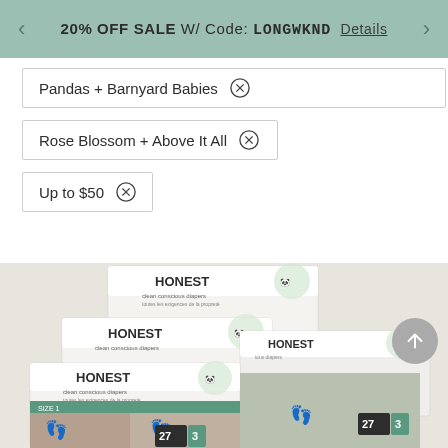20% OFF SALE W/ Code: LONGWKND  Details
Pandas + Barnyard Babies ×
Rose Blossom + Above It All ×
Up to $50 ×
[Figure (photo): Multiple Honest brand diaper packages stacked, showing babies wearing patterned diapers with numbers 27 and 3 visible on packaging.]